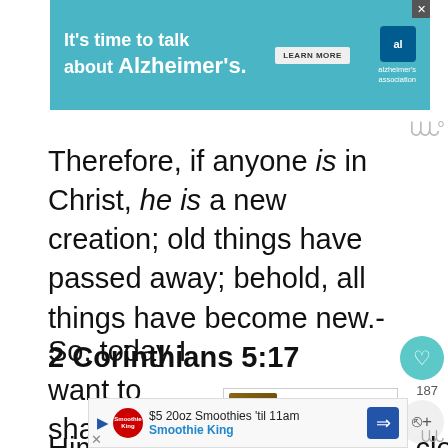[Figure (screenshot): Alzheimer's Association advertisement banner with teal background. Text: 'It's time to talk about Alzheimer's.' with LEARN MORE button and Alzheimer's Association logo.]
Therefore, if anyone is in Christ, he is a new creation; old things have passed away; behold, all things have become new.- 2 Corinthians 5:17
So, today I want to share with you inspiring and powerful quotes on the cross. Ones that glorify Jesus, t[…] Him all the while drawing us closer to H[…]
[Figure (screenshot): WHAT'S NEXT panel showing '24 Powerful Easter Praye...' with a nighttime photo thumbnail. Heart icon with 187 count and share icon on the right side.]
[Figure (screenshot): Bottom advertisement for Smoothie King: '$5 20oz Smoothies 'til 11am' with Smoothie King logo and blue arrow navigation button.]